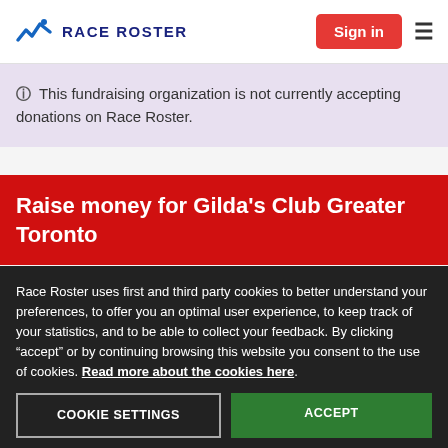RACE ROSTER | Sign in
This fundraising organization is not currently accepting donations on Race Roster.
Raise money for Gilda's Club Greater Toronto
For this year's October 2021 Virtual Scotiabank Run/Walk, we'd love to have you join our Gilda's Club Greater Toronto team or support our organization in this event. Gilda's Club provides cancer support programs free of charge to adults, teens/children as well
Race Roster uses first and third party cookies to better understand your preferences, to offer you an optimal user experience, to keep track of your statistics, and to be able to collect your feedback. By clicking “accept” or by continuing browsing this website you consent to the use of cookies. Read more about the cookies here.
COOKIE SETTINGS | ACCEPT